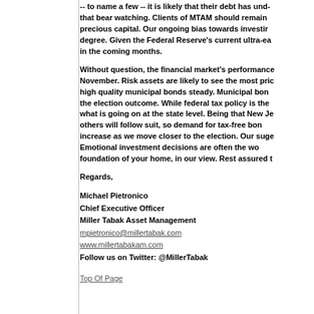-- to name a few -- it is likely that their debt has und- that bear watching. Clients of MTAM should remain precious capital. Our ongoing bias towards investi- degree. Given the Federal Reserve's current ultra-ea- in the coming months.
Without question, the financial market's performance November. Risk assets are likely to see the most pri- high quality municipal bonds steady. Municipal bon- the election outcome. While federal tax policy is the what is going on at the state level. Being that New Je- others will follow suit, so demand for tax-free bon- increase as we move closer to the election. Our sug- Emotional investment decisions are often the wo- foundation of your home, in our view. Rest assured t-
Regards,
Michael Pietronico
Chief Executive Officer
Miller Tabak Asset Management
mpietronico@millertabak.com
www.millertabakam.com
Follow us on Twitter: @MillerTabak
Top Of Page